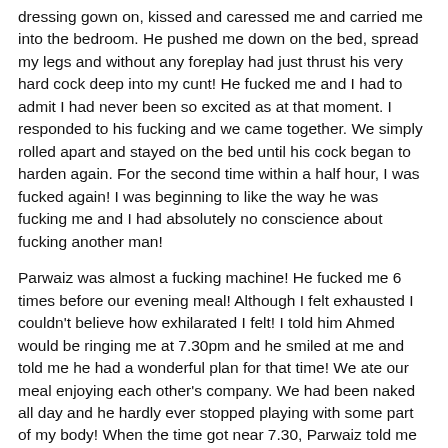dressing gown on, kissed and caressed me and carried me into the bedroom. He pushed me down on the bed, spread my legs and without any foreplay had just thrust his very hard cock deep into my cunt! He fucked me and I had to admit I had never been so excited as at that moment. I responded to his fucking and we came together. We simply rolled apart and stayed on the bed until his cock began to harden again. For the second time within a half hour, I was fucked again! I was beginning to like the way he was fucking me and I had absolutely no conscience about fucking another man!
Parwaiz was almost a fucking machine! He fucked me 6 times before our evening meal! Although I felt exhausted I couldn't believe how exhilarated I felt! I told him Ahmed would be ringing me at 7.30pm and he smiled at me and told me he had a wonderful plan for that time! We ate our meal enjoying each other's company. We had been naked all day and he hardly ever stopped playing with some part of my body! When the time got near 7.30, Parwaiz told me he wanted me to answer the telephone at 7.30 and to talk naturally to Ahmed not letting him know Parwaiz was there. I was still naked when the telephone rang at